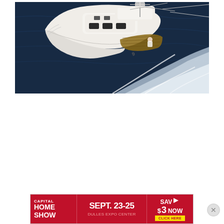[Figure (photo): Aerial view of a white sport fishing yacht cruising on dark blue ocean water, leaving a white wake behind. The boat is viewed from above at an angle, showing the flybridge, cabin, and aft deck.]
[Figure (infographic): Advertisement banner for Capital Home Show. Text reads: CAPITAL HOME SHOW | SEPT. 23-25 | DULLES EXPO CENTER | SAVE $3 NOW | CLICK HERE. Red background with yellow button.]